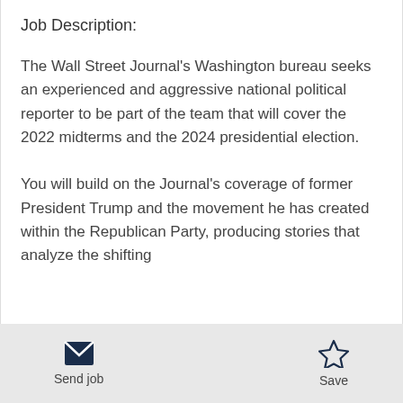Job Description:
The Wall Street Journal's Washington bureau seeks an experienced and aggressive national political reporter to be part of the team that will cover the 2022 midterms and the 2024 presidential election.
You will build on the Journal's coverage of former President Trump and the movement he has created within the Republican Party, producing stories that analyze the shifting
Send job  Save